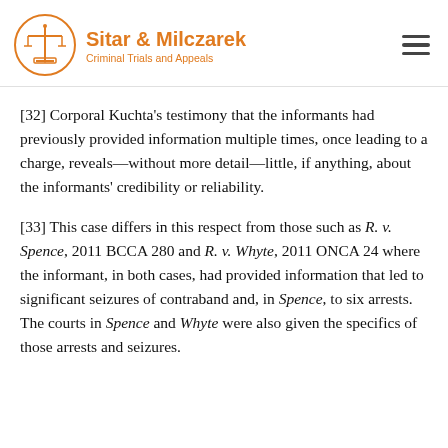Sitar & Milczarek — Criminal Trials and Appeals
[32] Corporal Kuchta's testimony that the informants had previously provided information multiple times, once leading to a charge, reveals—without more detail—little, if anything, about the informants' credibility or reliability.
[33] This case differs in this respect from those such as R. v. Spence, 2011 BCCA 280 and R. v. Whyte, 2011 ONCA 24 where the informant, in both cases, had provided information that led to significant seizures of contraband and, in Spence, to six arrests. The courts in Spence and Whyte were also given the specifics of those arrests and seizures.